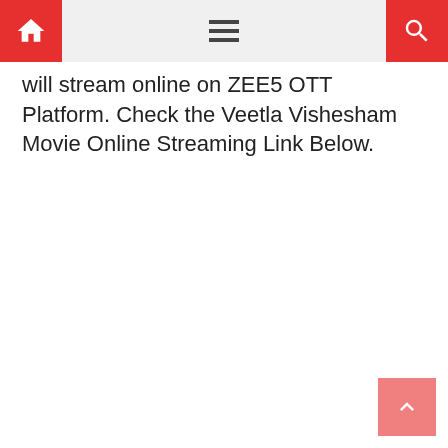Navigation bar with home icon, menu icon, and search icon
will stream online on ZEE5 OTT Platform. Check the Veetla Vishesham Movie Online Streaming Link Below.